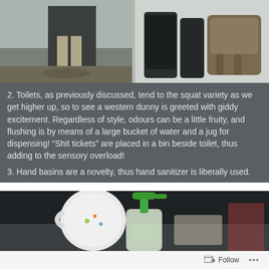[Figure (photo): Two photos side by side: left shows person standing in a doorway with muddy floor, right shows bags and a backpack leaning against a white wall.]
2. Toilets, as previously discussed, tend to the squat variety as we get higher up, so to see a western dunny is greeted with giddy excitement. Regardless of style, odours can be a little fruity, and flushing is by means of a large bucket of water and a jug for dispensing! “Shit tickets” are placed in a bin beside toilet, thus adding to the sensory overload!
3. Hand basins are a novelty, thus hand sanitizer is liberally used.
[Figure (photo): Close-up photo of a hand sanitizer bottle with a green pump dispenser on a table, with a ceramic mug visible to the left.]
Follow ...